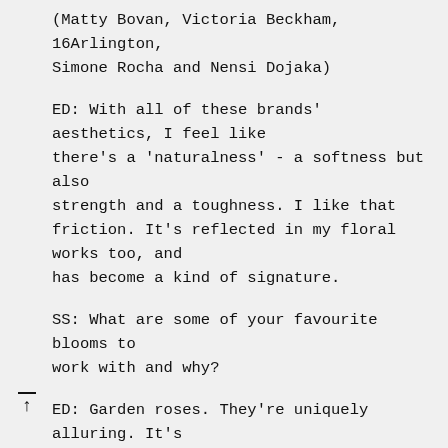(Matty Bovan, Victoria Beckham, 16Arlington, Simone Rocha and Nensi Dojaka)
ED: With all of these brands' aesthetics, I feel like there's a 'naturalness' - a softness but also strength and a toughness. I like that friction. It's reflected in my floral works too, and has become a kind of signature.
SS: What are some of your favourite blooms to work with and why?
ED: Garden roses. They're uniquely alluring. It's their delicacy and their scent, the more mottled and weirdly grown the better. I love London in the summer, because everyone has roses in their front gardens. I love Gloriosa too, it looks like flames - and it's poisonous and toxic, but is also well known to be used to heal all sorts of maladies. I never really get tired of anthuriums, I